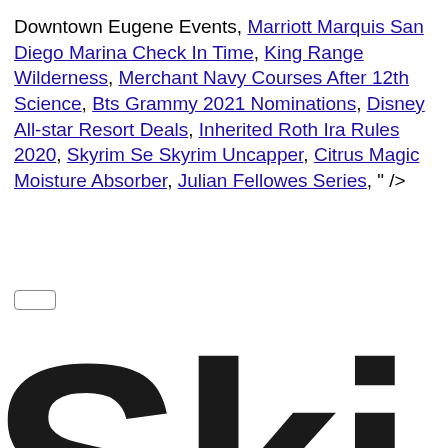Downtown Eugene Events, Marriott Marquis San Diego Marina Check In Time, King Range Wilderness, Merchant Navy Courses After 12th Science, Bts Grammy 2021 Nominations, Disney All-star Resort Deals, Inherited Roth Ira Rules 2020, Skyrim Se Skyrim Uncapper, Citrus Magic Moisture Absorber, Julian Fellowes Series, " />
[Figure (other): Input/search box element (small rounded rectangle outline)]
Ski